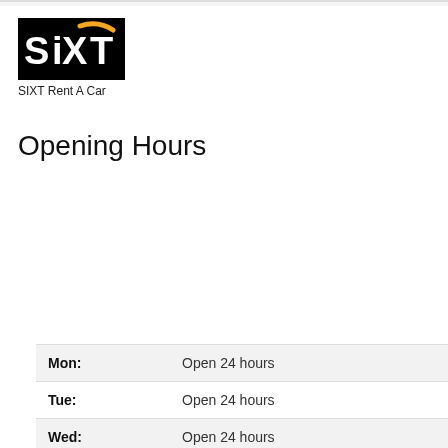[Figure (logo): SIXT Rent A Car logo — black background with white SIXT text and orange swoosh accent]
SIXT Rent A Car
Opening Hours
| Day | Hours |
| --- | --- |
| Mon: | Open 24 hours |
| Tue: | Open 24 hours |
| Wed: | Open 24 hours |
| Thu: | Open 24 hours |
| Fri: | Open 24 hours |
| Sat: | Open 24 hours |
| Sun: | Open 24 hours |